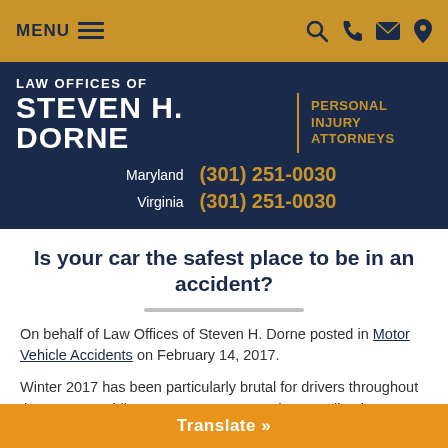MENU | [search] [phone] [email] [location]
LAW OFFICES OF STEVEN H. DORNE | PERSONAL INJURY ATTORNEYS
Maryland (301) 251-0030
Virginia (301) 251-0030
Is your car the safest place to be in an accident?
On behalf of Law Offices of Steven H. Dorne posted in Motor Vehicle Accidents on February 14, 2017.
Winter 2017 has been particularly brutal for drivers throughout the country. While many are accustomed to traveling in inclimate
Translate »